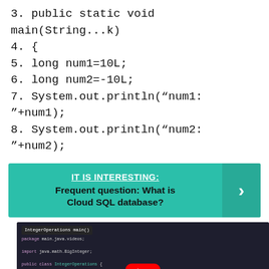3. public static void main(String...k)
4. {
5. long num1=10L;
6. long num2=-10L;
7. System.out.println(“num1: ”+num1);
8. System.out.println(“num2: ”+num2);
[Figure (infographic): Teal banner with text 'IT IS INTERESTING:' and 'Frequent question: What is Cloud SQL database?' with a right-arrow chevron button on the right side.]
[Figure (screenshot): Screenshot of a Java IDE showing IntegerOperations class code with BigInteger operations, overlaid with a YouTube play button.]